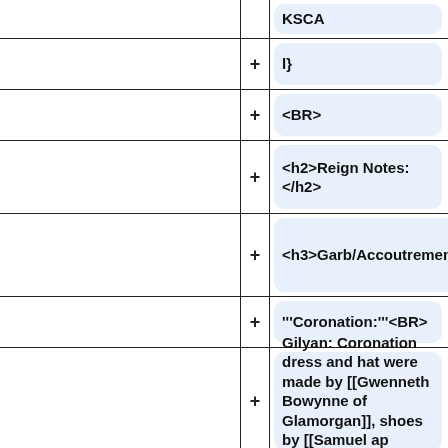KSCA
+ l}
+ <BR>
+ <h2>Reign Notes: </h2>
+ <h3>Garb/Accoutrements</h3>
+ '''Coronation:'''<BR>
Gilyan: Coronation dress and hat were made by [[Gwenneth Bowynne of Glamorgan]], shoes by [[Samuel ap Dewi]].